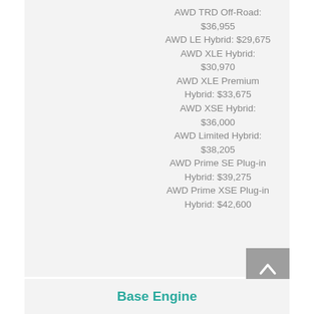AWD TRD Off-Road: $36,955
AWD LE Hybrid: $29,675
AWD XLE Hybrid: $30,970
AWD XLE Premium Hybrid: $33,675
AWD XSE Hybrid: $36,000
AWD Limited Hybrid: $38,205
AWD Prime SE Plug-in Hybrid: $39,275
AWD Prime XSE Plug-in Hybrid: $42,600
Base Engine